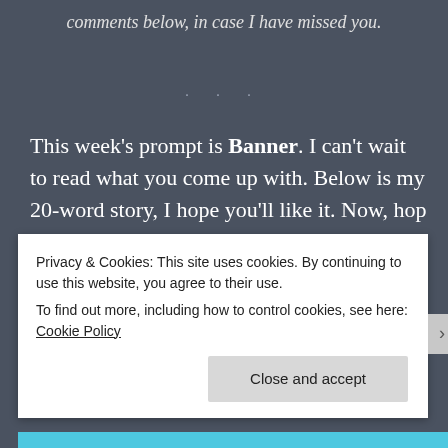comments below, in case I have missed you.
· · ·
This week's prompt is Banner. I can't wait to read what you come up with. Below is my 20-word story, I hope you'll like it. Now, hop on the wagon and tell me a tale!
Banner
Privacy & Cookies: This site uses cookies. By continuing to use this website, you agree to their use.
To find out more, including how to control cookies, see here: Cookie Policy